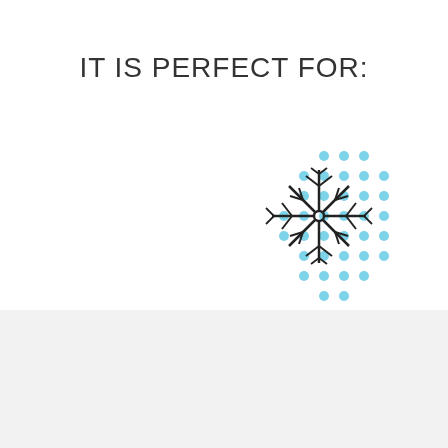IT IS PERFECT FOR:
[Figure (illustration): Snowflake icon with blue dot pattern background in lower right of white section]
Harry Potter Gryffindor Oodie
£94* £59 Save £35
Quantity
- 1 + ADD TO CART